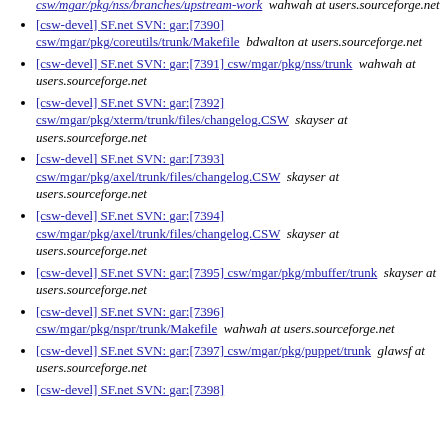[csw-devel] SF.net SVN: gar:[7390] csw/mgar/pkg/nss/branches/upstream-work  wahwah at users.sourceforge.net
[csw-devel] SF.net SVN: gar:[7390] csw/mgar/pkg/coreutils/trunk/Makefile  bdwalton at users.sourceforge.net
[csw-devel] SF.net SVN: gar:[7391] csw/mgar/pkg/nss/trunk  wahwah at users.sourceforge.net
[csw-devel] SF.net SVN: gar:[7392] csw/mgar/pkg/xterm/trunk/files/changelog.CSW  skayser at users.sourceforge.net
[csw-devel] SF.net SVN: gar:[7393] csw/mgar/pkg/axel/trunk/files/changelog.CSW  skayser at users.sourceforge.net
[csw-devel] SF.net SVN: gar:[7394] csw/mgar/pkg/axel/trunk/files/changelog.CSW  skayser at users.sourceforge.net
[csw-devel] SF.net SVN: gar:[7395] csw/mgar/pkg/mbuffer/trunk  skayser at users.sourceforge.net
[csw-devel] SF.net SVN: gar:[7396] csw/mgar/pkg/nspr/trunk/Makefile  wahwah at users.sourceforge.net
[csw-devel] SF.net SVN: gar:[7397] csw/mgar/pkg/puppet/trunk  glawsf at users.sourceforge.net
[csw-devel] SF.net SVN: gar:[7398]